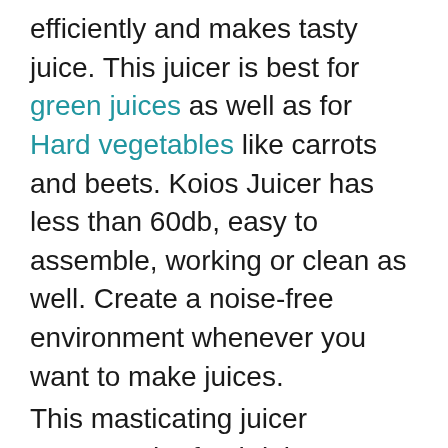efficiently and makes tasty juice. This juicer is best for green juices as well as for Hard vegetables like carrots and beets. Koios Juicer has less than 60db, easy to assemble, working or clean as well. Create a noise-free environment whenever you want to make juices.
This masticating juicer prevents the fresh juice, nutritious enzymes from destroying. Also, reduce oxidation, and there is no type of clogging. This technology is helpful for and made up of baby food grades. The Koios slow auger is made up of solid plastic, designed for a high-pressure environment. It offers safe products100% BPA free. No blades are there, so it’s safe for children. Koios juicers are easy to assemble. Nothing is complicated while you make it. Koios is a